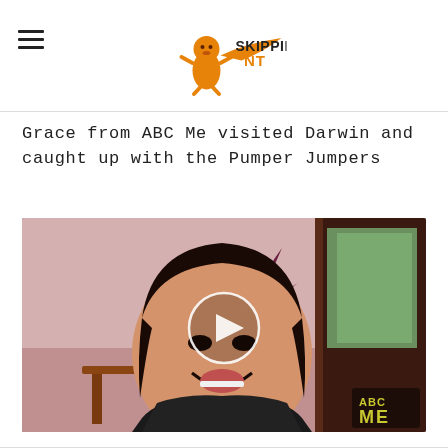Skipping NT (logo)
Grace from ABC Me visited Darwin and caught up with the Pumper Jumpers
[Figure (screenshot): Video thumbnail showing a smiling woman with dark hair in an indoor setting with a plant in the background. An ABC ME logo is visible in the bottom right corner. A circular play button overlay is centered on the image.]